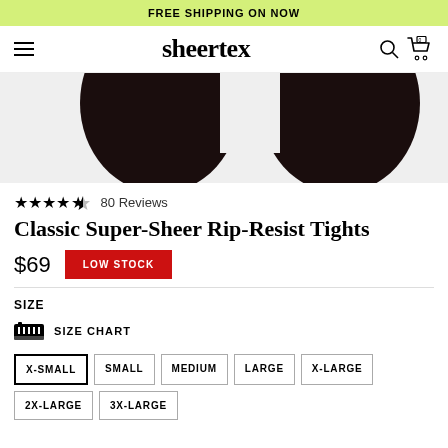FREE SHIPPING ON NOW
[Figure (logo): Sheertex logo with hamburger menu, search icon, and cart icon (0 items)]
[Figure (photo): Close-up product photo of dark black/navy tights worn on legs against light background]
★★★★½  80 Reviews
Classic Super-Sheer Rip-Resist Tights
$69  LOW STOCK
SIZE
SIZE CHART
X-SMALL
SMALL
MEDIUM
LARGE
X-LARGE
2X-LARGE
3X-LARGE